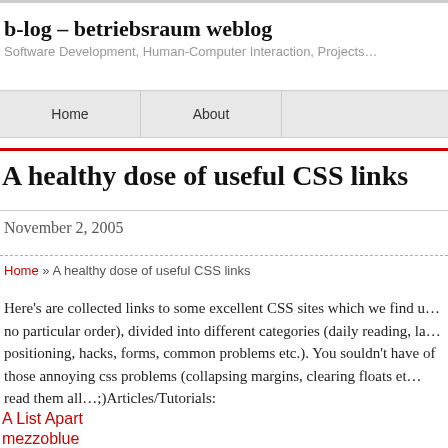b-log – betriebsraum weblog
Software Development, Human-Computer Interaction, Projects…
Home | About
A healthy dose of useful CSS links
November 2, 2005
Home » A healthy dose of useful CSS links
Here's are collected links to some excellent CSS sites which we find u… no particular order), divided into different categories (daily reading, la… positioning, hacks, forms, common problems etc.). You souldn't have … of those annoying css problems (collapsing margins, clearing floats et… read them all…;)Articles/Tutorials:
A List Apart
mezzoblue